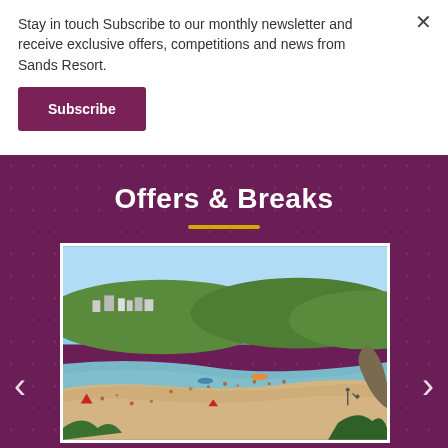Stay in touch Subscribe to our monthly newsletter and receive exclusive offers, competitions and news from Sands Resort.
Subscribe
Offers & Breaks
[Figure (photo): Aerial/elevated view of a sandy beach with people sunbathing and swimming, calm blue water, green hills and buildings in the background under a blue sky.]